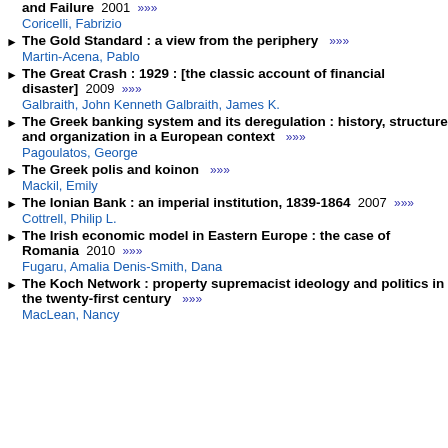and Failure 2001 »»» Coricelli, Fabrizio
The Gold Standard : a view from the periphery »»» Martin-Acena, Pablo
The Great Crash : 1929 : [the classic account of financial disaster] 2009 »»» Galbraith, John Kenneth Galbraith, James K.
The Greek banking system and its deregulation : history, structure and organization in a European context »»» Pagoulatos, George
The Greek polis and koinon »»» Mackil, Emily
The Ionian Bank : an imperial institution, 1839-1864 2007 »»» Cottrell, Philip L.
The Irish economic model in Eastern Europe : the case of Romania 2010 »»» Fugaru, Amalia Denis-Smith, Dana
The Koch Network : property supremacist ideology and politics in the twenty-first century »»» MacLean, Nancy